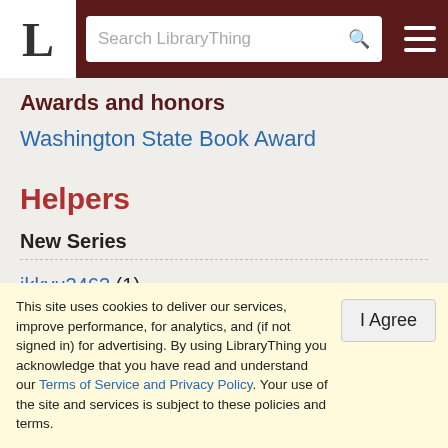L — Search LibraryThing
Awards and honors
Washington State Book Award
Helpers
New Series
ikkyu2462 (1)
Common Knowledge Series
This site uses cookies to deliver our services, improve performance, for analytics, and (if not signed in) for advertising. By using LibraryThing you acknowledge that you have read and understand our Terms of Service and Privacy Policy. Your use of the site and services is subject to these policies and terms.